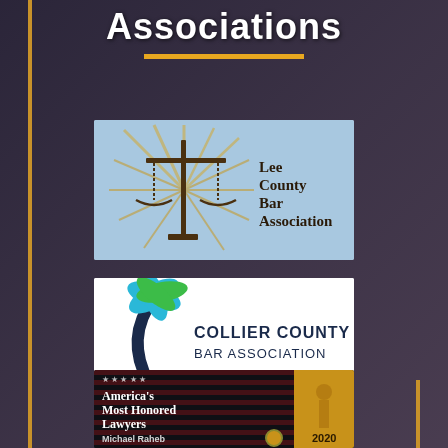Associations
[Figure (logo): Lee County Bar Association logo — scales of justice with decorative palm fronds on a blue background]
[Figure (logo): Collier County Bar Association logo — teal palm tree silhouette with dark arc on white background]
[Figure (logo): America's Most Honored Lawyers 2020 badge — Michael Raheb, dark background with American flag motif and gold lady justice figure]